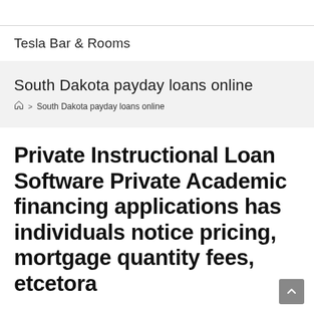Tesla Bar & Rooms
South Dakota payday loans online
> South Dakota payday loans online
Private Instructional Loan Software Private Academic financing applications has individuals notice pricing, mortgage quantity fees, etcetera